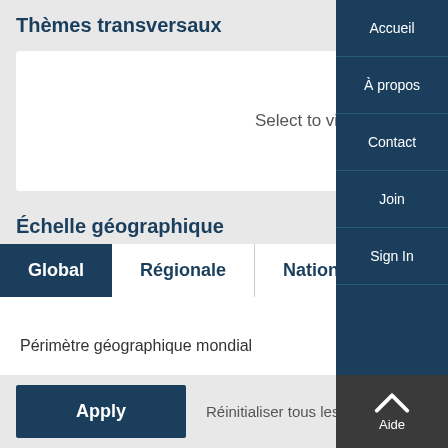Thèmes transversaux
Select to view content by GCM guiding principle
Échelle géographique
Global
Régionale
Nationale
Périmètre géographique mondial
Apply
Réinitialiser tous les
Accueil
À propos
Contact
Join
Sign In
Aide